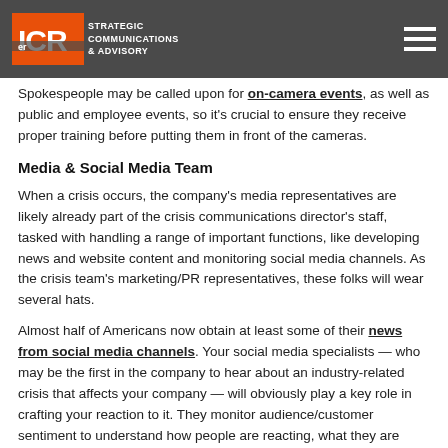ICR | STRATEGIC COMMUNICATIONS & ADVISORY
Spokespeople may be called upon for on-camera events, as well as public and employee events, so it's crucial to ensure they receive proper training before putting them in front of the cameras.
Media & Social Media Team
When a crisis occurs, the company's media representatives are likely already part of the crisis communications director's staff, tasked with handling a range of important functions, like developing news and website content and monitoring social media channels. As the crisis team's marketing/PR representatives, these folks will wear several hats.
Almost half of Americans now obtain at least some of their news from social media channels. Your social media specialists — who may be the first in the company to hear about an industry-related crisis that affects your company — will obviously play a key role in crafting your reaction to it. They monitor audience/customer sentiment to understand how people are reacting, what they are saying, how they think the situation should be